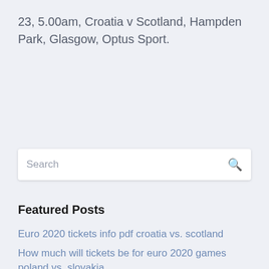23, 5.00am, Croatia v Scotland, Hampden Park, Glasgow, Optus Sport.
Search
Featured Posts
Euro 2020 tickets info pdf croatia vs. scotland
How much will tickets be for euro 2020 games poland vs. slovakia